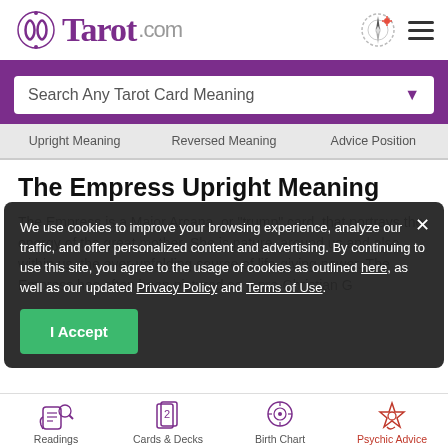Tarot.com
Search Any Tarot Card Meaning
Upright Meaning | Reversed Meaning | Advice Position
The Empress Upright Meaning
The Empress is a Major Arcana, or "trump" card, that portrays the energy of the great mother. She is nature, around us and also within us, the ever-unfolding source of life-giving power. The Empress has often been pictured as a pre-Christian Goddess...
We use cookies to improve your browsing experience, analyze our traffic, and offer personalized content and advertising. By continuing to use this site, you agree to the usage of cookies as outlined here, as well as our updated Privacy Policy and Terms of Use.
I Accept
Readings | Cards & Decks | Birth Chart | Psychic Advice